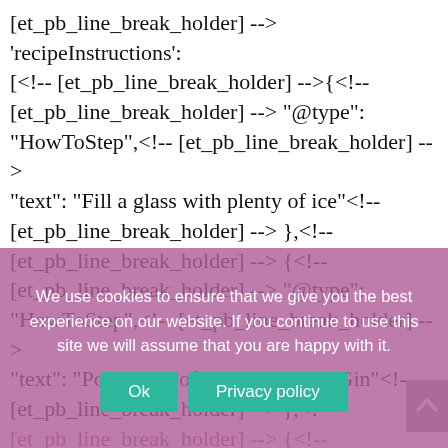[et_pb_line_break_holder] --> 'recipeInstructions': [<!-- [et_pb_line_break_holder] -->{<!-- [et_pb_line_break_holder] --> "@type": "HowToStep",<!-- [et_pb_line_break_holder] --> "text": "Fill a glass with plenty of ice"<!-- [et_pb_line_break_holder] --> },<!-- [et_pb_line_break_holder] --> {<!-- [et_pb_line_break_holder] --> "@type": "HowToStep",<!-- [et_pb_line_break_holder] --> "text": "Pour 50ml of Martin Millers Gin"<!-- [et_pb_line_break_holder] --> },<!-- [et_pb_line_break_holder] --> {<!-- [et_pb_line_break_holder] --> "@type": "HowToStep",<!-- [et_pb_line_break_holder] --> "text": "Quarter a lemon, and add to the glass"
We use cookies to ensure that we give you the best experience on our website. If you continue to use this site we will assume that you are happy with it.
Ok    Privacy policy